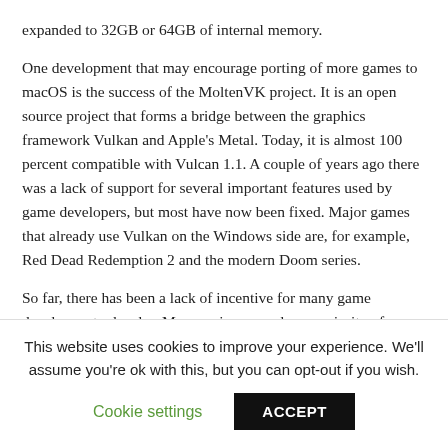expanded to 32GB or 64GB of internal memory.
One development that may encourage porting of more games to macOS is the success of the MoltenVK project. It is an open source project that forms a bridge between the graphics framework Vulkan and Apple’s Metal. Today, it is almost 100 percent compatible with Vulcan 1.1. A couple of years ago there was a lack of support for several important features used by game developers, but most have now been fixed. Major games that already use Vulkan on the Windows side are, for example, Red Dead Redemption 2 and the modern Doom series.
So far, there has been a lack of incentive for many game developers to develop Mac versions, as a large majority of
This website uses cookies to improve your experience. We’ll assume you’re ok with this, but you can opt-out if you wish.
Cookie settings
ACCEPT